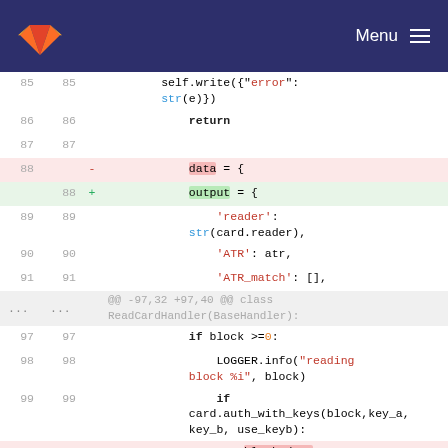[Figure (screenshot): GitLab navbar with logo and Menu button]
Code diff view showing lines 85-100 of a Python file. Lines 85-87: self.write({'error': str(e)}), return. Line 88 deleted: data = {, Line 88 added: output = {. Lines 89-91: 'reader': str(card.reader), 'ATR': atr, 'ATR_match': []. Context hunk: @@ -97,32 +97,40 @@ class ReadCardHandler(BaseHandler):. Lines 97-99: if block >=0:, LOGGER.info('reading block %i', block), if card.auth_with_keys(block,key_a, key_b, use_keyb):. Line 100 deleted: block_data = card.read block(block)